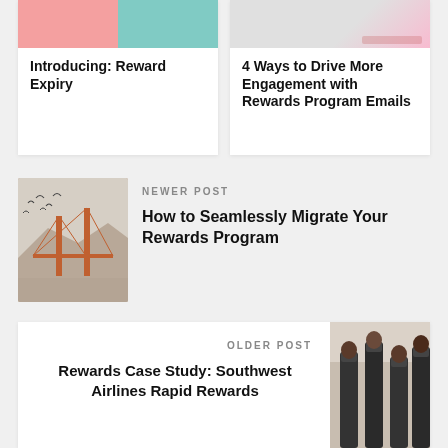Introducing: Reward Expiry
4 Ways to Drive More Engagement with Rewards Program Emails
NEWER POST
How to Seamlessly Migrate Your Rewards Program
OLDER POST
Rewards Case Study: Southwest Airlines Rapid Rewards